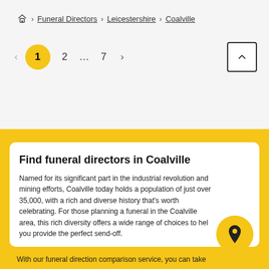Home > Funeral Directors > Leicestershire > Coalville
< 1 2 … 7 > ^
Find funeral directors in Coalville
Named for its significant part in the industrial revolution and mining efforts, Coalville today holds a population of just over 35,000, with a rich and diverse history that's worth celebrating. For those planning a funeral in the Coalville area, this rich diversity offers a wide range of choices to help you provide the perfect send-off.
With our funeral direction comparison service, you can take